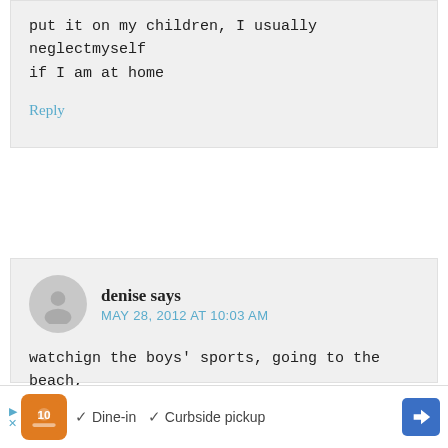put it on my children, I usually neglectmyself if I am at home
Reply
denise says
MAY 28, 2012 AT 10:03 AM
watchign the boys' sports, going to the beach, etc...
Reply
[Figure (infographic): Advertisement bar at bottom with restaurant logo, dine-in and curbside pickup options, navigation arrow icon, and close button]